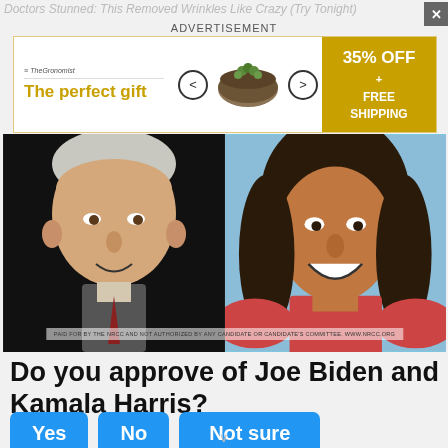Doctors Stunned: This Removed Wrinkles Like Crazy (Try Tonight)
[Figure (screenshot): Advertisement banner for 'The perfect gift' with bowl imagery, navigation arrows, and '35% OFF + FREE SHIPPING' offer in yellow/gold color scheme]
[Figure (photo): Side-by-side photo of Joe Biden (left, against dark background) and Kamala Harris (right, smiling, against blue background) with watermark text at bottom reading 'PAID FOR BY THE NRCC AND NOT AUTHORIZED BY ANY CANDIDATE OR CANDIDATE'S COMMITTEE. WWW.NRCC.ORG']
Do you approve of Joe Biden and Kamala Harris?
[Figure (screenshot): Three blue poll buttons: Yes, No, Not sure]